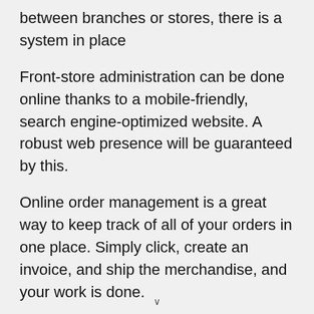between branches or stores, there is a system in place
Front-store administration can be done online thanks to a mobile-friendly, search engine-optimized website. A robust web presence will be guaranteed by this.
Online order management is a great way to keep track of all of your orders in one place. Simply click, create an invoice, and ship the merchandise, and your work is done.
Administrators have the option of creating an